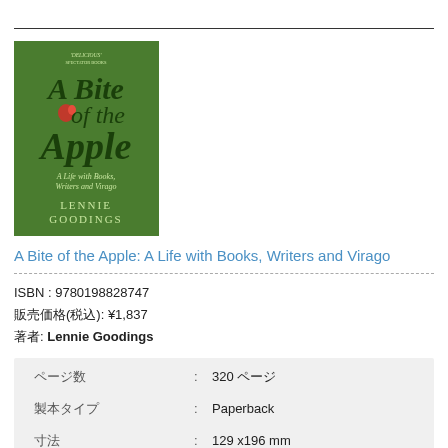[Figure (illustration): Book cover of 'A Bite of the Apple: A Life with Books, Writers and Virago' by Lennie Goodings. Green background with stylized serif title text and a small red apple image.]
A Bite of the Apple: A Life with Books, Writers and Virago
ISBN : 9780198828747
販売価格(税込): ¥1,837
著者: Lennie Goodings
| ページ数 | : | 320 ページ |
| 製本タイプ | : | Paperback |
| 寸法 | : | 129 x 196 mm |